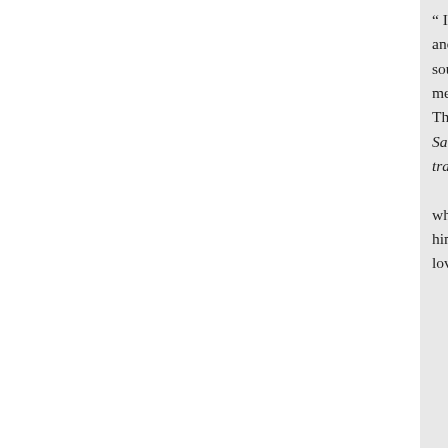" If we would be thus happy, and goodness, we must keep such soul may have pleasure in us. We meditations of our hearts always. The light of nature could direct S Sacer inest in nobis spiritus bon tractamus, ita et ille nos. There i who watches and observes both g him. But I shall conclude this dis love me, he will keep my word, a Father will love him, and we v
Non possidentem multa voc Rectè beatum: rectiùs occup Nomen beati, qui deorum
Duramque callet pauperiem pa Great Secret. As this kind of me